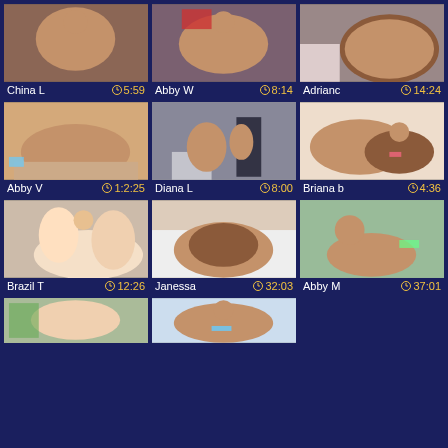[Figure (screenshot): Video thumbnail grid showing 9 video thumbnails with titles and durations]
China L  5:59
Abby W  8:14
Adriana  14:24
Abby V  1:2:25
Diana L  8:00
Briana  4:36
Brazil T  12:26
Janessa  32:03
Abby M  37:01